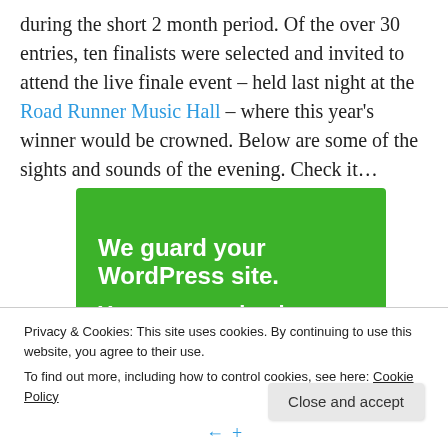during the short 2 month period. Of the over 30 entries, ten finalists were selected and invited to attend the live finale event – held last night at the Road Runner Music Hall – where this year's winner would be crowned. Below are some of the sights and sounds of the evening. Check it…
[Figure (infographic): Green banner advertisement reading 'We guard your WordPress site. You run your business.' on a bright green background.]
Privacy & Cookies: This site uses cookies. By continuing to use this website, you agree to their use.
To find out more, including how to control cookies, see here: Cookie Policy